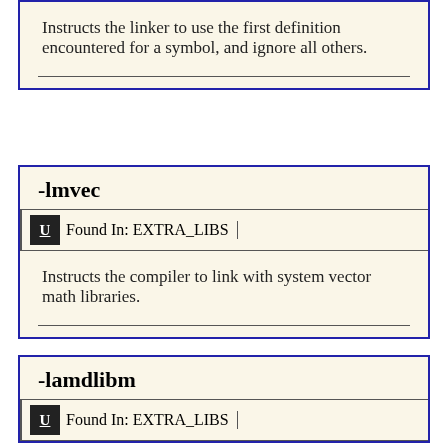Instructs the linker to use the first definition encountered for a symbol, and ignore all others.
-lmvec
Found In: EXTRA_LIBS
Instructs the compiler to link with system vector math libraries.
-lamdlibm
Found In: EXTRA_LIBS